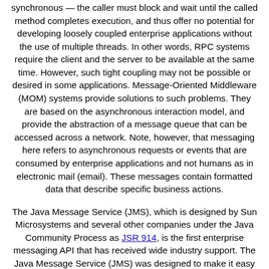remote procedure call (RPC) systems, including CORBA, are synchronous — the caller must block and wait until the called method completes execution, and thus offer no potential for developing loosely coupled enterprise applications without the use of multiple threads. In other words, RPC systems require the client and the server to be available at the same time. However, such tight coupling may not be possible or desired in some applications. Message-Oriented Middleware (MOM) systems provide solutions to such problems. They are based on the asynchronous interaction model, and provide the abstraction of a message queue that can be accessed across a network. Note, however, that messaging here refers to asynchronous requests or events that are consumed by enterprise applications and not humans as in electronic mail (email). These messages contain formatted data that describe specific business actions.
The Java Message Service (JMS), which is designed by Sun Microsystems and several other companies under the Java Community Process as JSR 914, is the first enterprise messaging API that has received wide industry support. The Java Message Service (JMS) was designed to make it easy to develop business applications that asynchronously send and receive business data and events. It defines a common enterprise messaging API that is designed to be easily and efficiently supported by a wide range of enterprise messaging products. JMS supports both messaging models: point-to-point (queuing) and publish-subscribe.